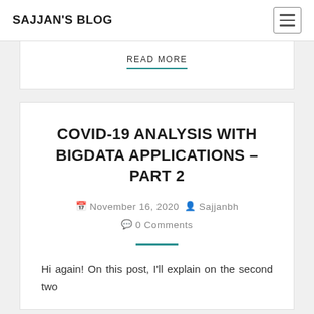SAJJAN'S BLOG
READ MORE
COVID-19 ANALYSIS WITH BIGDATA APPLICATIONS – PART 2
November 16, 2020  Sajjanbh  0 Comments
Hi again! On this post, I'll explain on the second two